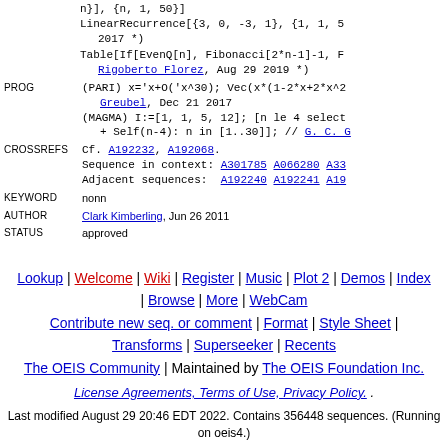n}], {n, 1, 50}]
LinearRecurrence[{3, 0, -3, 1}, {1, 1, 5... 2017 *)
Table[If[EvenQ[n], Fibonacci[2*n-1]-1, F... Rigoberto Florez, Aug 29 2019 *)
PROG: (PARI) x='x+O('x^30); Vec(x*(1-2*x+2*x^2... Greubel, Dec 21 2017
(MAGMA) I:=[1, 1, 5, 12]; [n le 4 select... + Self(n-4): n in [1..30]]; // G. C. G
CROSSREFS: Cf. A192232, A192068.
Sequence in context: A301785 A066280 A33...
Adjacent sequences: A192240 A192241 A19...
KEYWORD: nonn
AUTHOR: Clark Kimberling, Jun 26 2011
STATUS: approved
Lookup | Welcome | Wiki | Register | Music | Plot 2 | Demos | Index | Browse | More | WebCam
Contribute new seq. or comment | Format | Style Sheet |
Transforms | Superseeker | Recents
The OEIS Community | Maintained by The OEIS Foundation Inc.
License Agreements, Terms of Use, Privacy Policy.
Last modified August 29 20:46 EDT 2022. Contains 356448 sequences. (Running on oeis4.)